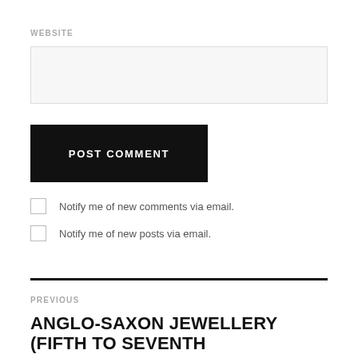WEBSITE
POST COMMENT
Notify me of new comments via email.
Notify me of new posts via email.
PREVIOUS
ANGLO-SAXON JEWELLERY (FIFTH TO SEVENTH